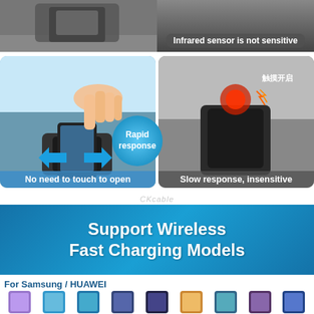[Figure (photo): Product comparison infographic: top row shows 'Automatic charging' (left, blue tinted) vs 'Infrared sensor is not sensitive' (right, dark/gray)]
[Figure (photo): Comparison images: left shows hand placing phone in car mount with blue arrows and 'Rapid response' badge, caption 'No need to touch to open'; right shows similar mount with red glow and Chinese text 触摸开启, caption 'Slow response, insensitive']
CKcable (watermark)
[Figure (infographic): Blue banner reading 'Support Wireless Fast Charging Models']
For Samsung / HUAWEI
[Figure (photo): Row of phone model thumbnails for Samsung and Huawei compatible phones]